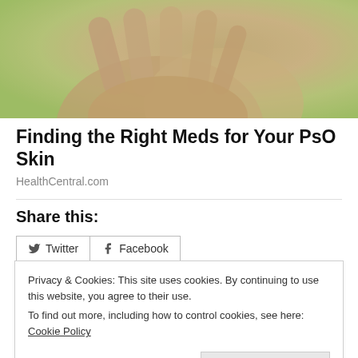[Figure (photo): Close-up photo of hands against a green/natural background, related to psoriasis skin condition]
Finding the Right Meds for Your PsO Skin
HealthCentral.com
Share this:
Privacy & Cookies: This site uses cookies. By continuing to use this website, you agree to their use.
To find out more, including how to control cookies, see here: Cookie Policy